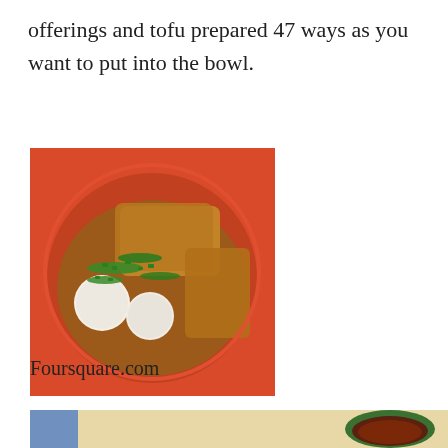offerings and tofu prepared 47 ways as you want to put into the bowl.
[Figure (photo): A red bowl filled with fish balls, fried tofu, and other ingredients topped with chopped green onions, in a broth.]
Foursquare.com
[Figure (photo): Partial view of a dish — a light beige/cream colored plate or tray with a dark sauce in a small green bowl on the right side.]